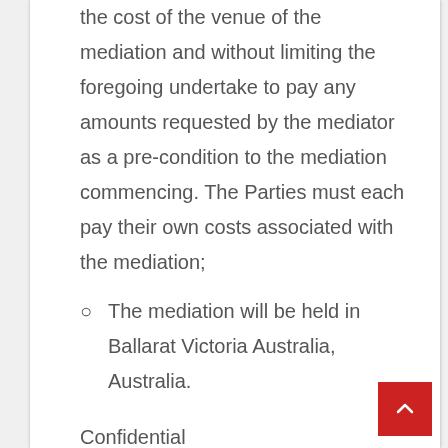the cost of the venue of the mediation and without limiting the foregoing undertake to pay any amounts requested by the mediator as a pre-condition to the mediation commencing. The Parties must each pay their own costs associated with the mediation;
The mediation will be held in Ballarat Victoria Australia, Australia.
Confidential